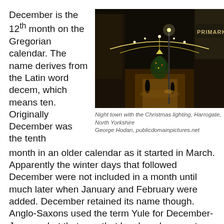December is the 12th month on the Gregorian calendar. The name derives from the Latin word decem, which means ten. Originally December was the tenth
[Figure (photo): Night street scene of a town with Christmas lighting strung overhead between buildings, wet cobblestone street reflecting warm orange light, dark evening sky, Harrogate, North Yorkshire]
Night town with the Christmas lighting, Harrogate, North Yorkshire
George Hodan, publicdomainpictures.net
month in an older calendar as it started in March. Apparently the winter days that followed December were not included in a month until much later when January and February were added. December retained its name though. Anglo-Saxons used the term Yule for December-January, but that now that has largely come to mean December and the Christmas